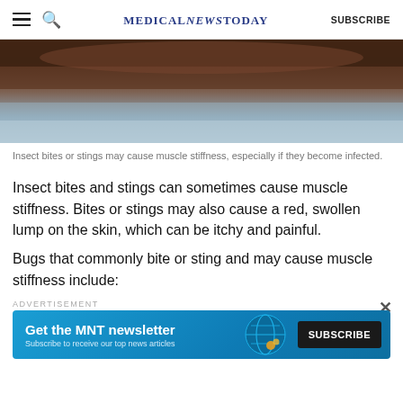MedicalNewsToday | SUBSCRIBE
[Figure (photo): Close-up macro photo of an insect bite or sting on skin, dark brown and grey tones]
Insect bites or stings may cause muscle stiffness, especially if they become infected.
Insect bites and stings can sometimes cause muscle stiffness. Bites or stings may also cause a red, swollen lump on the skin, which can be itchy and painful.
Bugs that commonly bite or sting and may cause muscle stiffness include:
[Figure (screenshot): Advertisement banner: Get the MNT newsletter - Subscribe to receive our top news articles. Blue background with globe graphic and black SUBSCRIBE button.]